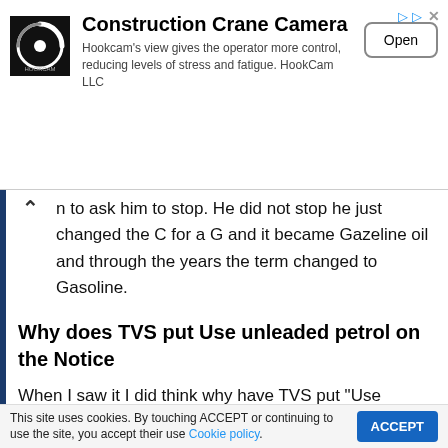[Figure (other): Advertisement banner for Construction Crane Camera (HookCam LLC) with logo, description text, and Open button]
n to ask him to stop. He did not stop he just changed the C for a G and it became Gazeline oil and through the years the term changed to Gasoline.
Why does TVS put Use unleaded petrol on the Notice
When I saw it I did think why have TVS put “Use unleaded petrol” on the notice as it is no longer available.
After a quick search, I discover up until July 2021 leaded
This site uses cookies. By touching ACCEPT or continuing to use the site, you accept their use Cookie policy.